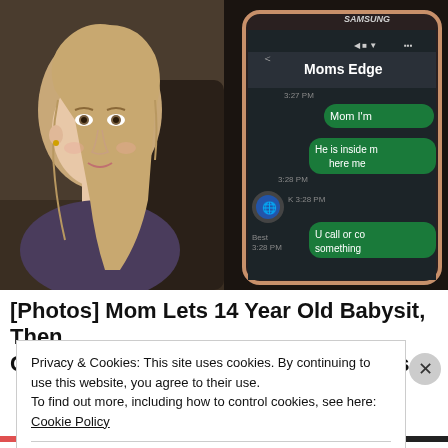[Figure (photo): Left: A young teenage girl with long blonde hair looking to the side against a dark interior background. Right: A Samsung phone displaying a text message conversation showing messages reading 'Mom I'm', 'He is inside m here me', and 'U call or co something']
[Photos] Mom Lets 14 Year Old Babysit, Then Gets Text Saying "He Helped" 8 Hours Later
Privacy & Cookies: This site uses cookies. By continuing to use this website, you agree to their use.
To find out more, including how to control cookies, see here: Cookie Policy
Close and accept